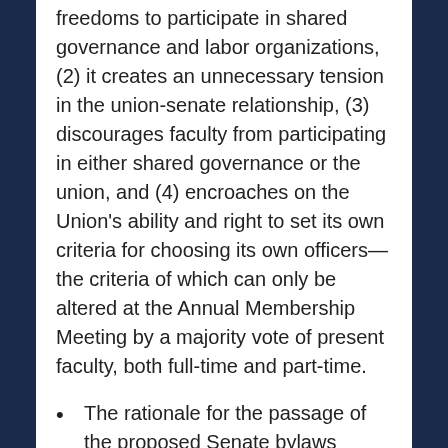freedoms to participate in shared governance and labor organizations, (2) it creates an unnecessary tension in the union-senate relationship, (3) discourages faculty from participating in either shared governance or the union, and (4) encroaches on the Union's ability and right to set its own criteria for choosing its own officers—the criteria of which can only be altered at the Annual Membership Meeting by a majority vote of present faculty, both full-time and part-time.
The rationale for the passage of the proposed Senate bylaws change is severely flawed.
There is no precedent for this restriction, and such a restriction is not past practice.
There is also no conflict of duty, since the duty